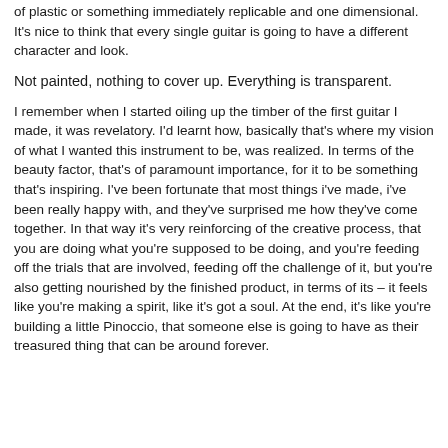of plastic or something immediately replicable and one dimensional. It's nice to think that every single guitar is going to have a different character and look.
Not painted, nothing to cover up. Everything is transparent.
I remember when I started oiling up the timber of the first guitar I made, it was revelatory. I'd learnt how, basically that's where my vision of what I wanted this instrument to be, was realized. In terms of the beauty factor, that's of paramount importance, for it to be something that's inspiring. I've been fortunate that most things i've made, i've been really happy with, and they've surprised me how they've come together. In that way it's very reinforcing of the creative process, that you are doing what you're supposed to be doing, and you're feeding off the trials that are involved, feeding off the challenge of it, but you're also getting nourished by the finished product, in terms of its – it feels like you're making a spirit, like it's got a soul. At the end, it's like you're building a little Pinoccio, that someone else is going to have as their treasured thing that can be around forever.